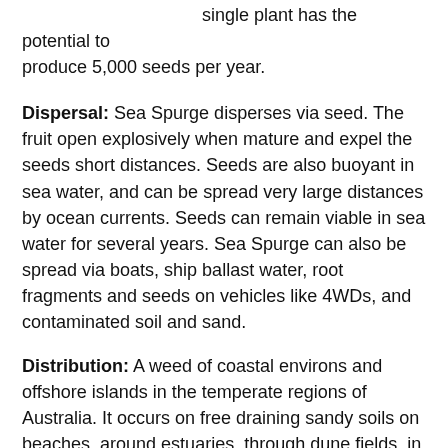single plant has the potential to produce 5,000 seeds per year.
Dispersal: Sea Spurge disperses via seed. The fruit open explosively when mature and expel the seeds short distances. Seeds are also buoyant in sea water, and can be spread very large distances by ocean currents. Seeds can remain viable in sea water for several years. Sea Spurge can also be spread via boats, ship ballast water, root fragments and seeds on vehicles like 4WDs, and contaminated soil and sand.
Distribution: A weed of coastal environs and offshore islands in the temperate regions of Australia. It occurs on free draining sandy soils on beaches, around estuaries, through dune fields, in coastal herbfields, grasslands, heaths and shrublands, and may also grow along rocky shorelines and in sand-filled cracks between rocks. Found on coasts right around Tasmania.
Status: Currently not declared in Tasmania but is a significant